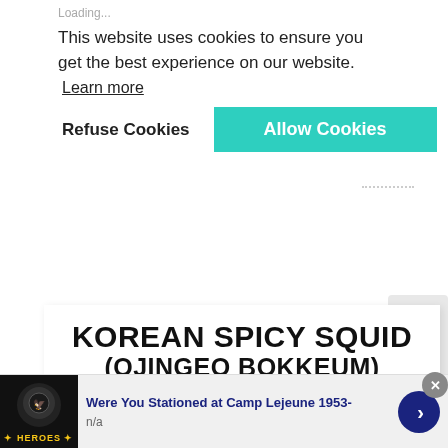Loading...
This website uses cookies to ensure you get the best experience on our website.
Learn more
Refuse Cookies
Allow Cookies
[Figure (screenshot): Cookie consent banner with Refuse Cookies and Allow Cookies buttons]
KOREAN SPICY SQUID (OJINGEO BOKKEUM)
www.MamasGuideRecipes.com
[Figure (screenshot): Infolinks ad banner with dark background food image]
Were You Stationed at Camp Lejeune 1953- n/a